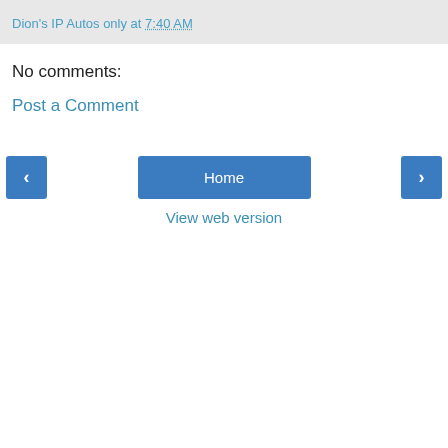Dion's IP Autos only at 7:40 AM
No comments:
Post a Comment
Home
View web version